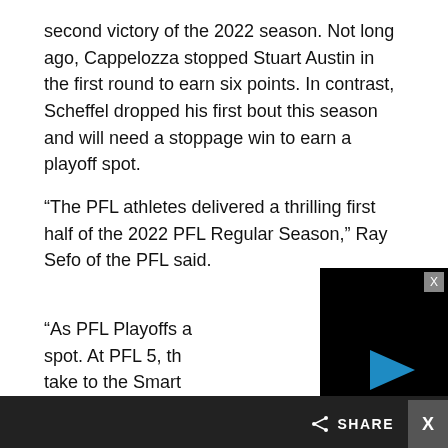second victory of the 2022 season. Not long ago, Cappelozza stopped Stuart Austin in the first round to earn six points. In contrast, Scheffel dropped his first bout this season and will need a stoppage win to earn a playoff spot.
“The PFL athletes delivered a thrilling first half of the 2022 PFL Regular Season,” Ray Sefo of the PFL said.
“As PFL Playoffs a[pproach, every fight has a] spot. At PFL 5, th[e stakes are high as fighters] take to the Smart [Cage to make their dreams] become a reality.”
[Figure (screenshot): Embedded video player with black background showing a blue play button in the center and a gray close (X) button in the top-right corner.]